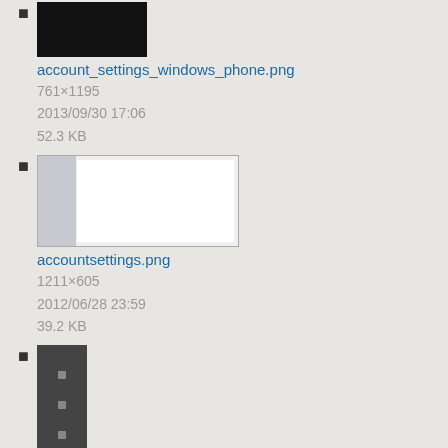account_settings_windows_phone.png
761×1195
2013/09/30 17:06
52.3 KB
accountsettings.png
1211×605
2012/06/28 23:59
39.2 KB
action_overflow_button.png
41×47
2014/10/06 21:45
488 B
actionsmenu_delete.png